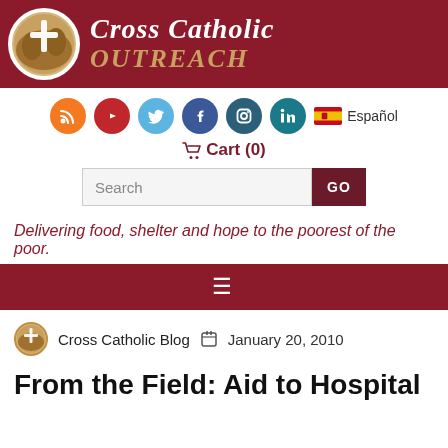[Figure (logo): Cross Catholic Outreach logo: circular globe with cross icon on left, 'Cross Catholic OUTREACH' text on dark red banner background]
[Figure (infographic): Row of social media icons: RSS (orange), YouTube (red), Twitter (light blue), Facebook (dark blue), Instagram (dark teal), LinkedIn (teal), and Spanish flag with 'Español' text]
🛒 Cart (0)
Search GO
Delivering food, shelter and hope to the poorest of the poor.
≡
Cross Catholic Blog   January 20, 2010
From the Field: Aid to Hospital